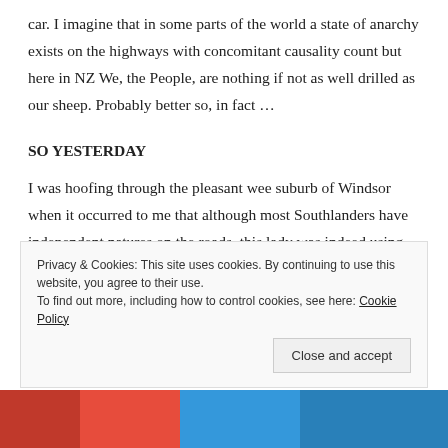car. I imagine that in some parts of the world a state of anarchy exists on the highways with concomitant causality count but here in NZ We, the People, are nothing if not as well drilled as our sheep. Probably better so, in fact …
SO YESTERDAY
I was hoofing through the pleasant wee suburb of Windsor when it occurred to me that although most Southlanders have independent natures on the roads, this lady was indeed using her initiative—
Privacy & Cookies: This site uses cookies. By continuing to use this website, you agree to their use.
To find out more, including how to control cookies, see here: Cookie Policy
Close and accept
[Figure (photo): Partial view of red and blue cars at the bottom of the page]